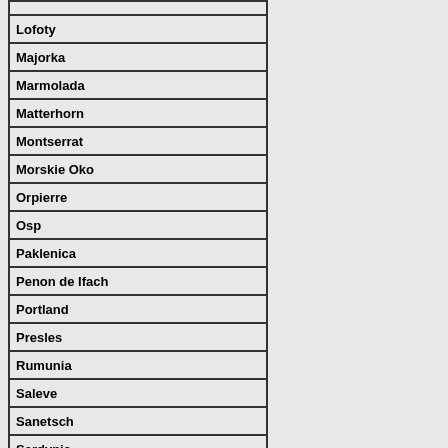| Lofoty |
| Majorka |
| Marmolada |
| Matterhorn |
| Montserrat |
| Morskie Oko |
| Orpierre |
| Osp |
| Paklenica |
| Penon de Ifach |
| Portland |
| Presles |
| Rumunia |
| Saleve |
| Sanetsch |
| Sardynia |
| Sella |
| Sperlonga |
| Sulov |
| Tofana |
| Tre Cime |
| Triglav |